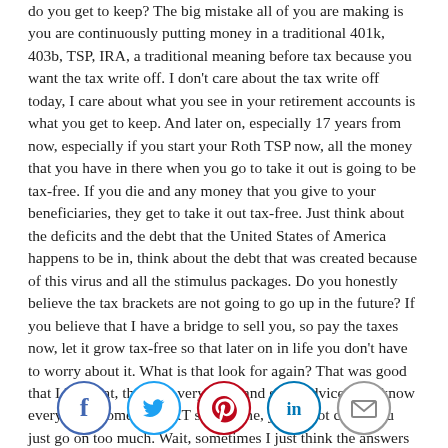do you get to keep? The big mistake all of you are making is you are continuously putting money in a traditional 401k, 403b, TSP, IRA, a traditional meaning before tax because you want the tax write off. I don't care about the tax write off today, I care about what you see in your retirement accounts is what you get to keep. And later on, especially 17 years from now, especially if you start your Roth TSP now, all the money that you have in there when you go to take it out is going to be tax-free. If you die and any money that you give to your beneficiaries, they get to take it out tax-free. Just think about the deficits and the debt that the United States of America happens to be in, think about the debt that was created because of this virus and all the stimulus packages. Do you honestly believe the tax brackets are not going to go up in the future? If you believe that I have a bridge to sell you, so pay the taxes now, let it grow tax-free so that later on in life you don't have to worry about it. What is that look for again? That was good that I like that, that was very clear and good advice. You know everybody, sometimes KT says to me, you're not clear, you just go on too much. Wait, sometimes I just think the answers are way too long. I'm trying to get better at that. And the shorter answer she gives you, the more you remember. But everybody, the reason that I do that is that there's so much you need to know and it's my passion that you really understand what I'm saying to you. And sometimes, I feel like I have to say
[Figure (infographic): Social sharing icons row: Facebook (blue circle), Twitter (light blue circle), Pinterest (red/crimson circle), LinkedIn (teal circle), Email/envelope (gray circle)]